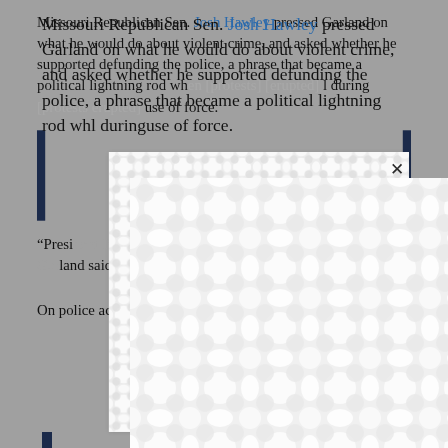Missouri Republican Sen. Josh Hawley pressed Garland on what he would do about violent crime, and asked whether he supported defunding the police, a phrase that became a political lightning rod wh[en Black Lives Matter protests erupted] [during] [use of force.]
[Figure (other): An advertisement overlay covering part of the article text, showing a white box with a decorative pattern background (interlocking circular/oval shapes in light grey on white). A close (X) button appears in the upper right of the overlay. Part of the blue left and right bars of a pull-quote are visible behind the overlay.]
“Presi[dent Biden does not sup]ort defund[ing the police,”] [Gar]land said.
On police accountability, Garland told Minnesota